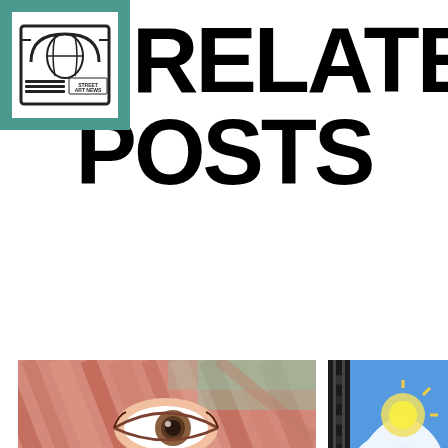[Figure (logo): Street Art News logo: white box with arch/globe graphic and text 'STREET ART NEWS', inside teal/green square border]
RELATED POSTS
[Figure (photo): Close-up of a street art mural showing a large face with an eye visible, diagonal pink/salmon and brown brush stroke patterns, outdoor setting with trees/cars in background]
[Figure (photo): Close-up of a fresco or mural with blue background, white swirling decorative shapes, yellow sun-like element, black ornamental ironwork border on left side]
All street art
"OUTSIGHT" by Jorge
All street art
New fresco